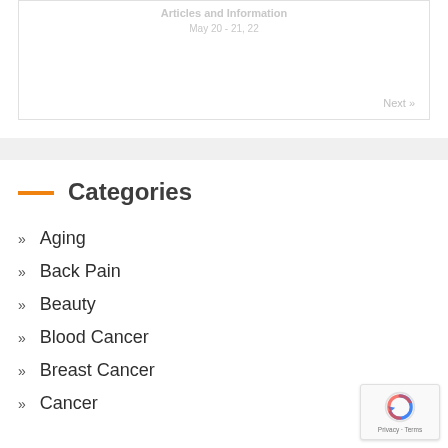Next »
Categories
Aging
Back Pain
Beauty
Blood Cancer
Breast Cancer
Cancer